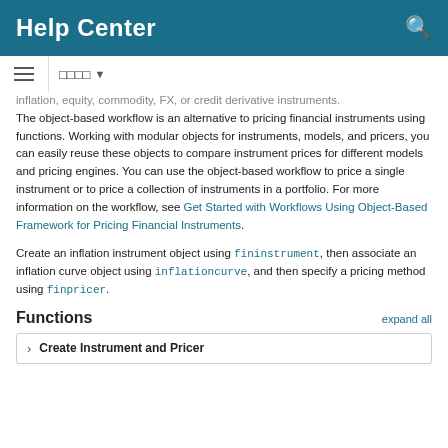Help Center
inflation, equity, commodity, FX, or credit derivative instruments. The object-based workflow is an alternative to pricing financial instruments using functions. Working with modular objects for instruments, models, and pricers, you can easily reuse these objects to compare instrument prices for different models and pricing engines. You can use the object-based workflow to price a single instrument or to price a collection of instruments in a portfolio. For more information on the workflow, see Get Started with Workflows Using Object-Based Framework for Pricing Financial Instruments.
Create an inflation instrument object using fininstrument, then associate an inflation curve object using inflationcurve, and then specify a pricing method using finpricer.
Functions
expand all
Create Instrument and Pricer